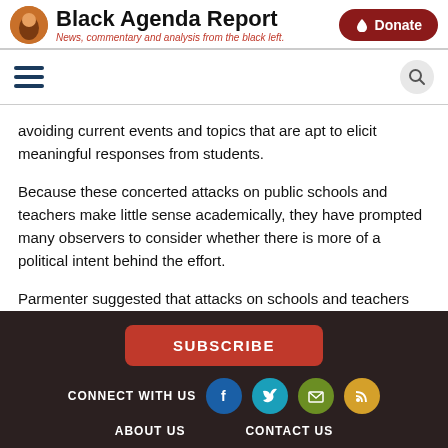Black Agenda Report — News, commentary and analysis from the black left.
avoiding current events and topics that are apt to elicit meaningful responses from students.
Because these concerted attacks on public schools and teachers make little sense academically, they have prompted many observers to consider whether there is more of a political intent behind the effort.
Parmenter suggested that attacks on schools and teachers are an attempt to change political momentum at a time
SUBSCRIBE | CONNECT WITH US | ABOUT US | CONTACT US